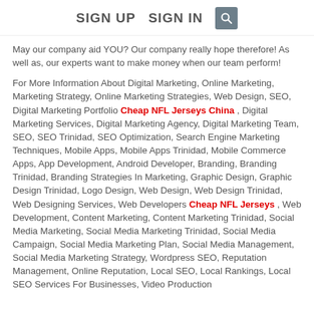SIGN UP   SIGN IN
May our company aid YOU? Our company really hope therefore! As well as, our experts want to make money when our team perform!
For More Information About Digital Marketing, Online Marketing, Marketing Strategy, Online Marketing Strategies, Web Design, SEO, Digital Marketing Portfolio Cheap NFL Jerseys China , Digital Marketing Services, Digital Marketing Agency, Digital Marketing Team, SEO, SEO Trinidad, SEO Optimization, Search Engine Marketing Techniques, Mobile Apps, Mobile Apps Trinidad, Mobile Commerce Apps, App Development, Android Developer, Branding, Branding Trinidad, Branding Strategies In Marketing, Graphic Design, Graphic Design Trinidad, Logo Design, Web Design, Web Design Trinidad, Web Designing Services, Web Developers Cheap NFL Jerseys , Web Development, Content Marketing, Content Marketing Trinidad, Social Media Marketing, Social Media Marketing Trinidad, Social Media Campaign, Social Media Marketing Plan, Social Media Management, Social Media Marketing Strategy, Wordpress SEO, Reputation Management, Online Reputation, Local SEO, Local Rankings, Local SEO Services For Businesses, Video Production